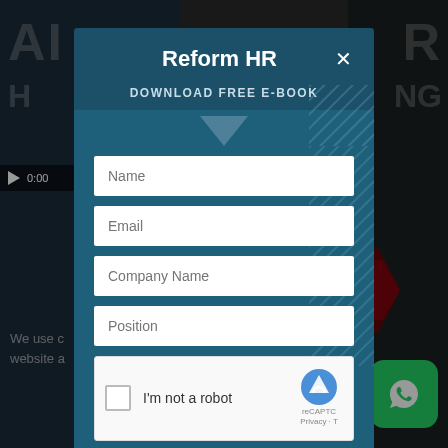[Figure (screenshot): Background webpage showing dark overlay with partial text 'AH', 'R', 'H', 'NG', video player controls, and bottom cookie notice text]
Reform HR
DOWNLOAD FREE E-BOOK
Name
Email
Company Name
Position
I'm not a robot
reCAPTCHA Privacy - T
We use c... website a... rove our ... e read our